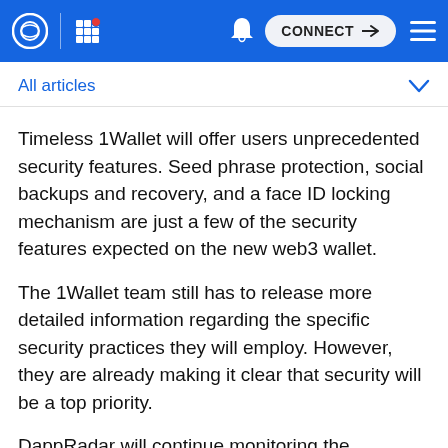CONNECT
All articles
Timeless 1Wallet will offer users unprecedented security features. Seed phrase protection, social backups and recovery, and a face ID locking mechanism are just a few of the security features expected on the new web3 wallet.
The 1Wallet team still has to release more detailed information regarding the specific security practices they will employ. However, they are already making it clear that security will be a top priority.
DappRadar will continue monitoring the Harmony